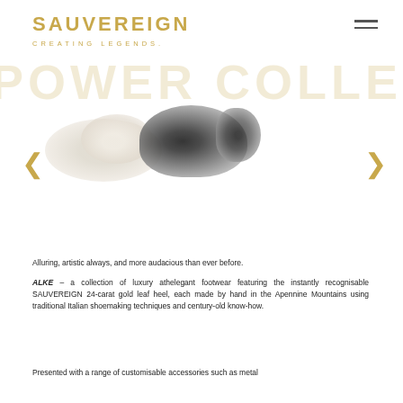SAUVEREIGN CREATING LEGENDS.
[Figure (photo): Partially cropped hero banner text reading POWER COLLECTION in large gold letters, with blurred image of luxury shoes below. Navigation arrows on left and right sides.]
Alluring, artistic always, and more audacious than ever before.
ALKE – a collection of luxury athelegant footwear featuring the instantly recognisable SAUVEREIGN 24-carat gold leaf heel, each made by hand in the Apennine Mountains using traditional Italian shoemaking techniques and century-old know-how.
Presented with a range of customisable accessories such as metal